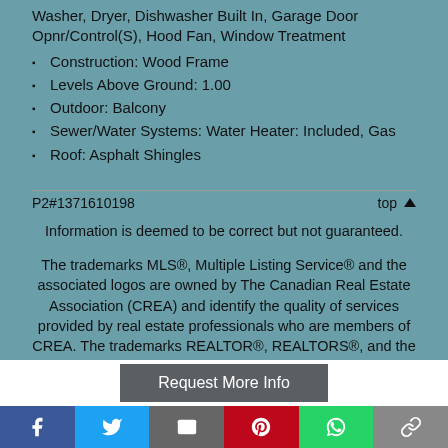Washer, Dryer, Dishwasher Built In, Garage Door Opnr/Control(S), Hood Fan, Window Treatment
Construction: Wood Frame
Levels Above Ground: 1.00
Outdoor: Balcony
Sewer/Water Systems: Water Heater: Included, Gas
Roof: Asphalt Shingles
P2#1371610198   top
Information is deemed to be correct but not guaranteed.
The trademarks MLS®, Multiple Listing Service® and the associated logos are owned by The Canadian Real Estate Association (CREA) and identify the quality of services provided by real estate professionals who are members of CREA. The trademarks REALTOR®, REALTORS®, and the REALTOR® logo